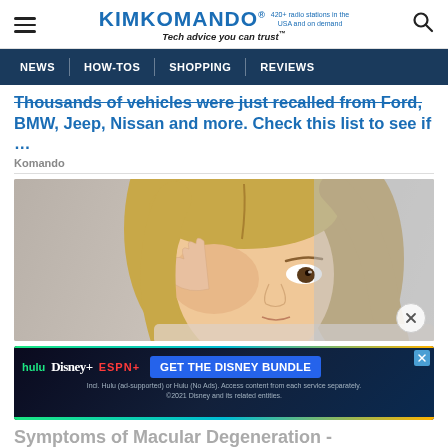KIMKOMANDO® | 420+ radio stations in the USA and on demand | Tech advice you can trust™
NEWS | HOW-TOS | SHOPPING | REVIEWS
Thousands of vehicles were just recalled from Ford, BMW, Jeep, Nissan and more. Check this list to see if …
Komando
[Figure (photo): Blonde woman looking distressed, rubbing her eye with her hand, blurred background]
[Figure (infographic): Disney Bundle advertisement: hulu, Disney+, ESPN+ logos with GET THE DISNEY BUNDLE CTA button. Fine print: Incl. Hulu (ad-supported) or Hulu (No Ads). Access content from each service separately. ©2021 Disney and its related entities.]
Symptoms of Macular Degeneration -